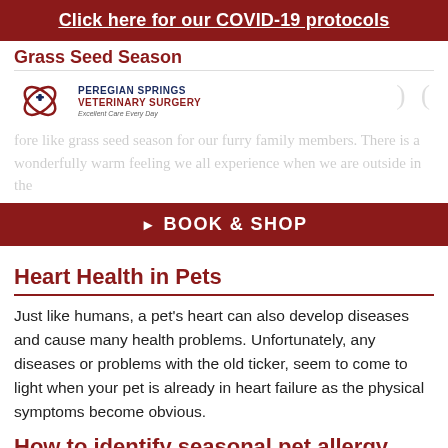Click here for our COVID-19 protocols
Grass Seed Season
[Figure (logo): Peregian Springs Veterinary Surgery logo with tagline 'Excellent Care Every Day']
fore like grass seed season for our furry family members. There is a wonderfully warm feeling we all experience when we are outside in the
BOOK & SHOP
Heart Health in Pets
Just like humans, a pet's heart can also develop diseases and cause many health problems. Unfortunately, any diseases or problems with the old ticker, seem to come to light when your pet is already in heart failure as the physical symptoms become obvious.
How to identify seasonal pet allergy